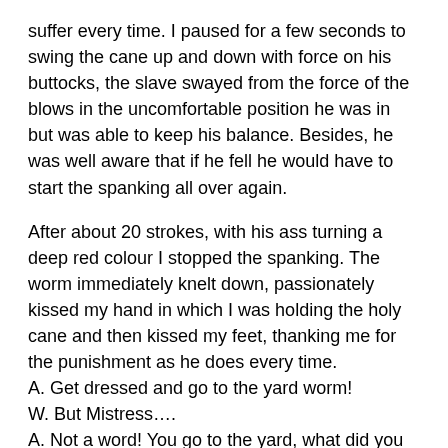suffer every time. I paused for a few seconds to swing the cane up and down with force on his buttocks, the slave swayed from the force of the blows in the uncomfortable position he was in but was able to keep his balance. Besides, he was well aware that if he fell he would have to start the spanking all over again.
After about 20 strokes, with his ass turning a deep red colour I stopped the spanking. The worm immediately knelt down, passionately kissed my hand in which I was holding the holy cane and then kissed my feet, thanking me for the punishment as he does every time.
A. Get dressed and go to the yard worm!
W. But Mistress….
A. Not a word! You go to the yard, what did you think? You still haven't even felt the chill that mommy and I experienced last night because of you!
Obediently the slave left for the yard again. We could watch